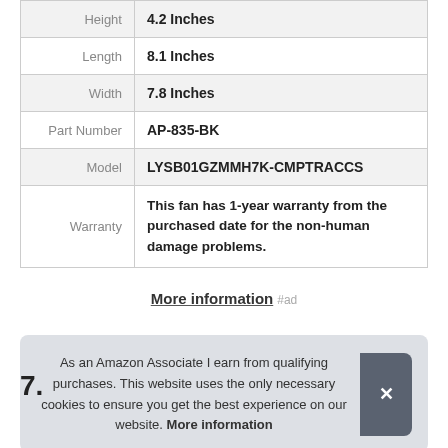| Attribute | Value |
| --- | --- |
| Height | 4.2 Inches |
| Length | 8.1 Inches |
| Width | 7.8 Inches |
| Part Number | AP-835-BK |
| Model | LYSB01GZMMH7K-CMPTRACCS |
| Warranty | This fan has 1-year warranty from the purchased date for the non-human damage problems. |
More information #ad
As an Amazon Associate I earn from qualifying purchases. This website uses the only necessary cookies to ensure you get the best experience on our website. More information
7.